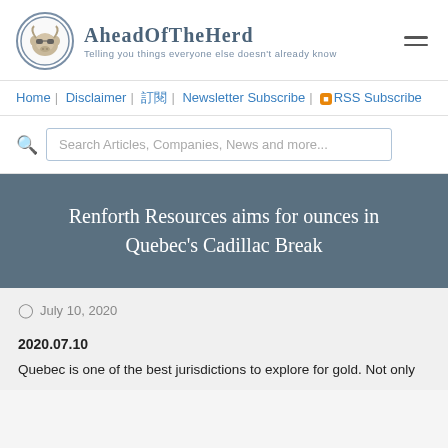[Figure (logo): AheadOfTheHerd website logo with a bull wearing sunglasses in a circle, site name and tagline]
Home | Disclaimer | 訂閱 | Newsletter Subscribe | RSS Subscribe
Search Articles, Companies, News and more...
Renforth Resources aims for ounces in Quebec's Cadillac Break
July 10, 2020
2020.07.10
Quebec is one of the best jurisdictions to explore for gold. Not only